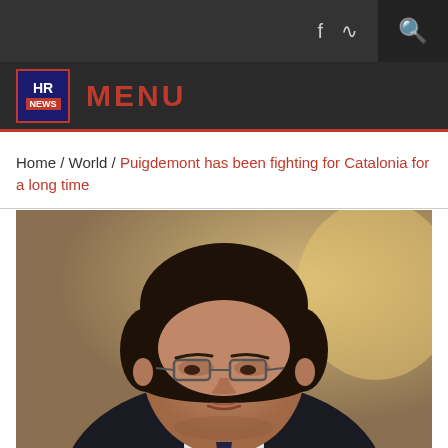HR NEWS — MENU (navigation bar with social icons)
Home / World / Puigdemont has been fighting for Catalonia for a long time
[Figure (photo): Portrait photo of Carles Puigdemont, a man with dark brown hair and glasses, wearing a dark suit, looking slightly to the side.]